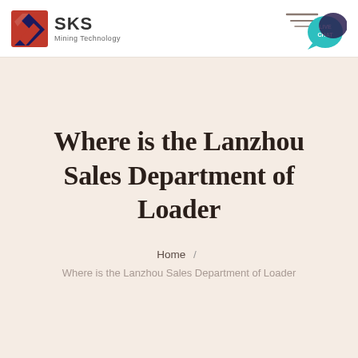[Figure (logo): SKS Mining Technology company logo with red and blue icon and text]
[Figure (infographic): Live Chat button with teal speech bubble icon and decorative lines]
Where is the Lanzhou Sales Department of Loader
Home / Where is the Lanzhou Sales Department of Loader